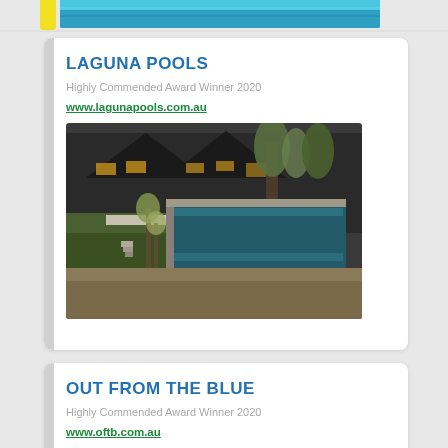[Figure (photo): Top strip showing blue pool water]
LAGUNA POOLS
Highly Commended Award Winner 2020
www.lagunapools.com.au
[Figure (photo): Aerial view of a luxury pool and landscaped garden at night with dark barn-style house]
OUT FROM THE BLUE
Highly Commended Award Winner 2020
www.oftb.com.au
[Figure (photo): Aerial view of person lying on wooden deck beside blue pool]